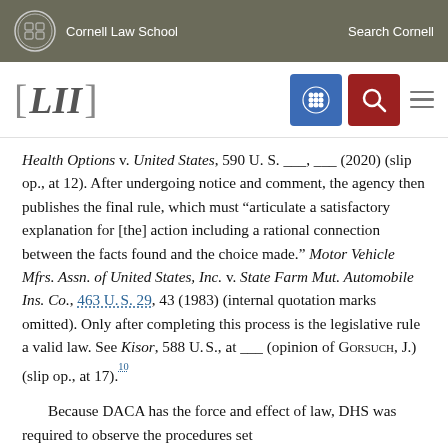Cornell Law School | Search Cornell
[Figure (logo): LII Legal Information Institute logo with Cornell Law School navigation bar]
Health Options v. United States, 590 U. S. ___, ___ (2020) (slip op., at 12). After undergoing notice and comment, the agency then publishes the final rule, which must “articulate a satisfactory explanation for [the] action including a rational connection between the facts found and the choice made.” Motor Vehicle Mfrs. Assn. of United States, Inc. v. State Farm Mut. Automobile Ins. Co., 463 U. S. 29, 43 (1983) (internal quotation marks omitted). Only after completing this process is the legislative rule a valid law. See Kisor, 588 U. S., at ___ (opinion of Gorsuch, J.) (slip op., at 17).10
Because DACA has the force and effect of law, DHS was required to observe the procedures set